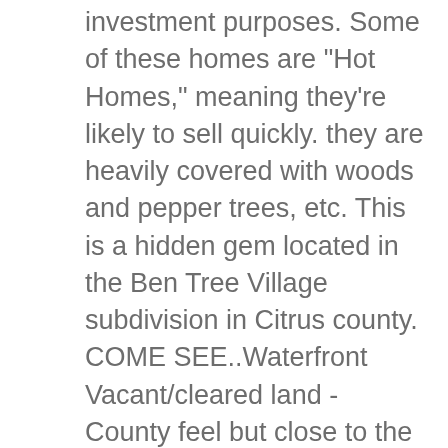investment purposes. Some of these homes are "Hot Homes," meaning they're likely to sell quickly. they are heavily covered with woods and pepper trees, etc. This is a hidden gem located in the Ben Tree Village subdivision in Citrus county. COME SEE..Waterfront Vacant/cleared land - County feel but close to the city. 2 bds; 2 ba--sqft; 1 day on Zillow. they will need cleared. Property... Beautiful 16.1 acres pasture, scattered oaks. Beautiful waterfront property in Hudson with dock! Close to shopping,restaurants and Hudson Beach. We have 46 properties for sale listed as hudson fl waterfront pool, from just $27,500. Report. House for sale. It is in a fantastic location 15 minutes from downtown Crystal River. There is almost 1,000 acres of waterfront property for sale in Bay County, Florida, based on recent Land And Farm data. The property is two full sized lots with over 8,000 square feet in